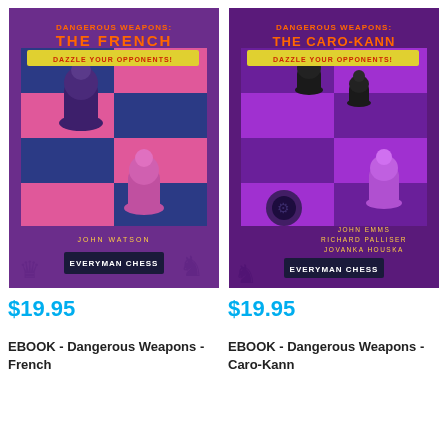[Figure (illustration): Book cover: Dangerous Weapons: The French by John Watson, Everyman Chess. Purple and pink chess board with chess pieces.]
$19.95
EBOOK - Dangerous Weapons - French
[Figure (illustration): Book cover: Dangerous Weapons: The Caro-Kann by John Emms, Richard Palliser, Jovanka Houska, Everyman Chess. Purple chess board with chess pieces.]
$19.95
EBOOK - Dangerous Weapons - Caro-Kann